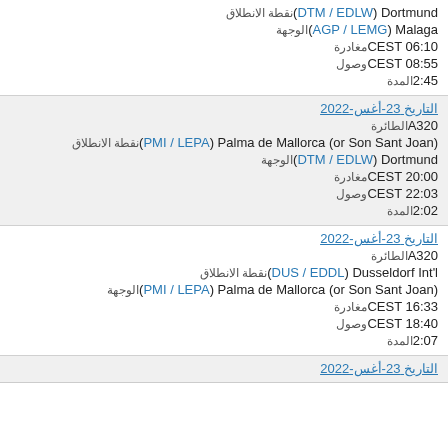نقطة الانطلاق (DTM / EDLW) Dortmund
الوجهة (AGP / LEMG) Malaga
مغادرة CEST 06:10
وصول CEST 08:55
المدة 2:45
التاريخ 23-أغس-2022
الطائرة A320
نقطة الانطلاق (PMI / LEPA) Palma de Mallorca (or Son Sant Joan)
الوجهة (DTM / EDLW) Dortmund
مغادرة CEST 20:00
وصول CEST 22:03
المدة 2:02
التاريخ 23-أغس-2022
الطائرة A320
نقطة الانطلاق (DUS / EDDL) Dusseldorf Int'l
الوجهة (PMI / LEPA) Palma de Mallorca (or Son Sant Joan)
مغادرة CEST 16:33
وصول CEST 18:40
المدة 2:07
التاريخ 23-أغس-2022